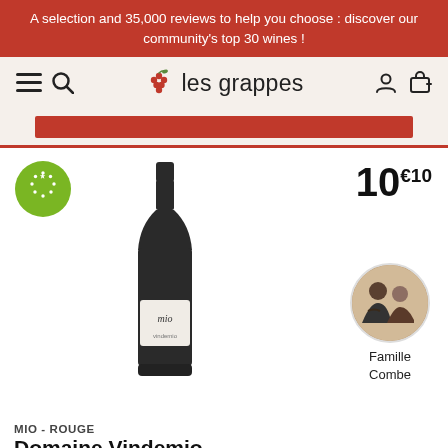A selection and 35,000 reviews to help you choose : discover our community's top 30 wines !
[Figure (logo): Les Grappes wine website header with hamburger menu, search icon, grape logo and site name 'les grappes', user account and shopping bag icons]
[Figure (photo): Red button/banner partially visible at top of product card]
[Figure (photo): Wine product card showing: green EU organic certification badge, a dark wine bottle labeled 'mio vindemio', price 10€10, circular photo of Famille Combe (man and woman), product name MIO - ROUGE, Domaine Vindemio with red star ratings]
MIO - ROUGE
Domaine Vindemio